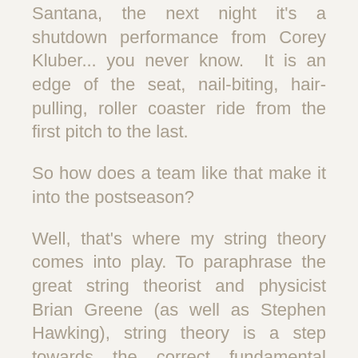Santana, the next night it's a shutdown performance from Corey Kluber... you never know.  It is an edge of the seat, nail-biting, hair-pulling, roller coaster ride from the first pitch to the last.
So how does a team like that make it into the postseason?
Well, that's where my string theory comes into play. To paraphrase the great string theorist and physicist Brian Greene (as well as Stephen Hawking), string theory is a step towards the correct fundamental description of nature (don't ask).
As it relates to my Indians, it goes something like this: The only way for a .500 team to separate itself from its competitive environment and catapult itself to a top...